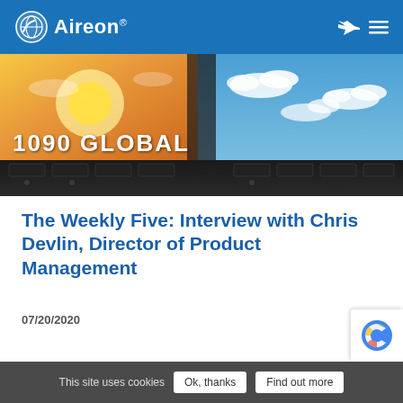Aireon
[Figure (photo): Cockpit view through windshield showing sunrise/sunset on left side and cloudy sky on right, with text overlay '1090 GLOBAL']
The Weekly Five: Interview with Chris Devlin, Director of Product Management
07/20/2020
This site uses cookies  Ok, thanks  Find out more